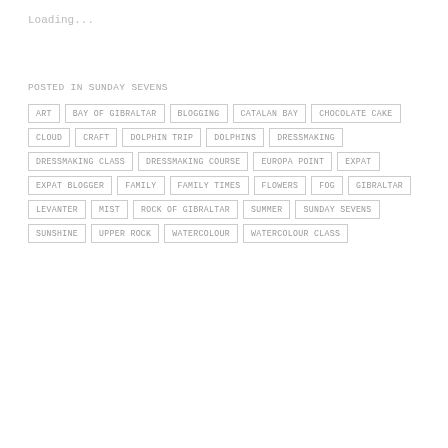Loading...
POSTED IN SUNDAY SEVENS
ART
BAY OF GIBRALTAR
BLOGGING
CATALAN BAY
CHOCOLATE CAKE
CLOUD
CRAFT
DOLPHIN TRIP
DOLPHINS
DRESSMAKING
DRESSMAKING CLASS
DRESSMAKING COURSE
EUROPA POINT
EXPAT
EXPAT BLOGGER
FAMILY
FAMILY TIMES
FLOWERS
FOG
GIBRALTAR
LEVANTER
MIST
ROCK OF GIBRALTAR
SUMMER
SUNDAY SEVENS
SUNSHINE
UPPER ROCK
WATERCOLOUR
WATERCOLOUR CLASS